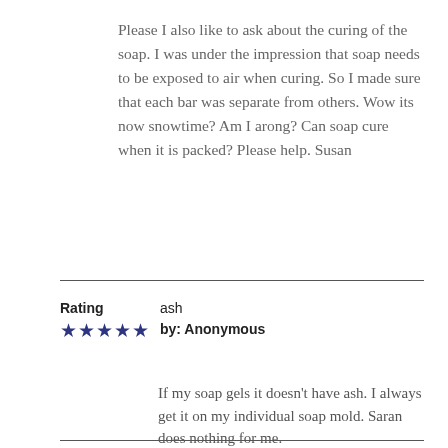Please I also like to ask about the curing of the soap. I was under the impression that soap needs to be exposed to air when curing. So I made sure that each bar was separate from others. Wow its now snowtime? Am I arong? Can soap cure when it is packed? Please help. Susan
Rating
★★★★★
ash
by: Anonymous
If my soap gels it doesn't have ash. I always get it on my individual soap mold. Saran does nothing for me.